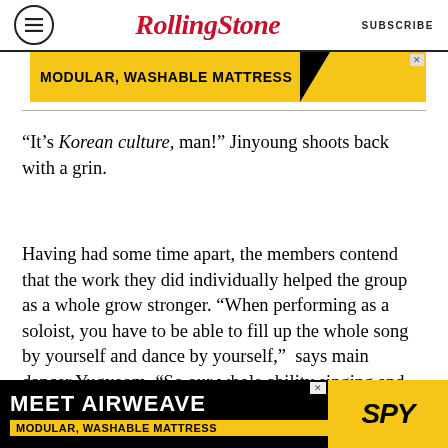RollingStone  SUBSCRIBE
[Figure (screenshot): Advertisement banner: MODULAR, WASHABLE MATTRESS on black and yellow background]
“It’s Korean culture, man!” Jinyoung shoots back with a grin.
Having had some time apart, the members contend that the work they did individually helped the group as a whole grow stronger. “When performing as a soloist, you have to be able to fill up the whole song by yourself and dance by yourself,”  says main dancer Yugyeom. “So our whole ability singing and dancing has probably gotten better.”
[Figure (screenshot): Advertisement: MEET AIRWEAVE MODULAR, WASHABLE MATTRESS with SPY logo on yellow background]